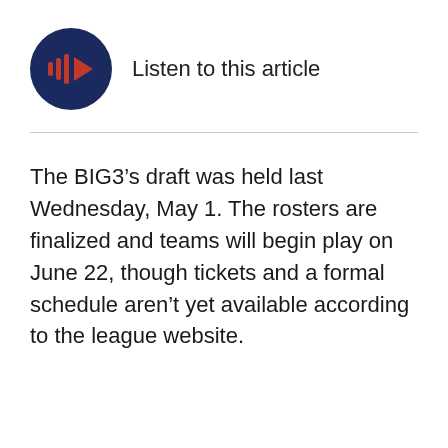[Figure (other): Dark navy circular audio player button with a red/orange play icon and sound wave bars, with label 'Listen to this article' to the right]
The BIG3’s draft was held last Wednesday, May 1. The rosters are finalized and teams will begin play on June 22, though tickets and a formal schedule aren’t yet available according to the league website.